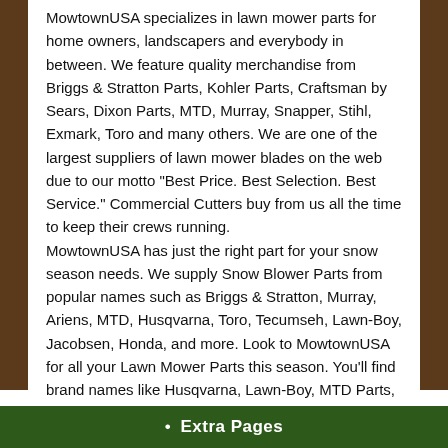MowtownUSA specializes in lawn mower parts for home owners, landscapers and everybody in between. We feature quality merchandise from Briggs & Stratton Parts, Kohler Parts, Craftsman by Sears, Dixon Parts, MTD, Murray, Snapper, Stihl, Exmark, Toro and many others. We are one of the largest suppliers of lawn mower blades on the web due to our motto "Best Price. Best Selection. Best Service." Commercial Cutters buy from us all the time to keep their crews running.
MowtownUSA has just the right part for your snow season needs. We supply Snow Blower Parts from popular names such as Briggs & Stratton, Murray, Ariens, MTD, Husqvarna, Toro, Tecumseh, Lawn-Boy, Jacobsen, Honda, and more. Look to MowtownUSA for all your Lawn Mower Parts this season. You'll find brand names like Husqvarna, Lawn-Boy, MTD Parts, Dixon Parts, Toro parts,Honda, Sears Craftsman, Ariens, Murray, and more. Have a particular part in mind? Use our convenient search engine to find that particular part.
• Extra Pages